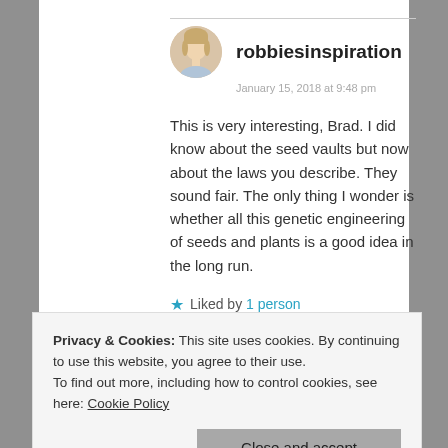robbiesinspiration
January 15, 2018 at 9:48 pm
This is very interesting, Brad. I did know about the seed vaults but now about the laws you describe. They sound fair. The only thing I wonder is whether all this genetic engineering of seeds and plants is a good idea in the long run.
Liked by 1 person
Reply
Privacy & Cookies: This site uses cookies. By continuing to use this website, you agree to their use.
To find out more, including how to control cookies, see here: Cookie Policy
Close and accept